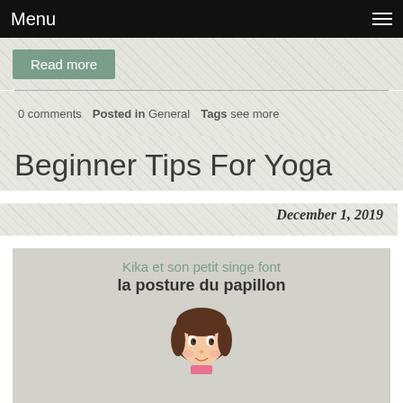Menu
Read more
0 comments  Posted in General  Tags see more
Beginner Tips For Yoga
December 1, 2019
[Figure (photo): Photo of a children's book page showing an illustrated cartoon girl with text in French: 'Kika et son petit singe font la posture du papillon']